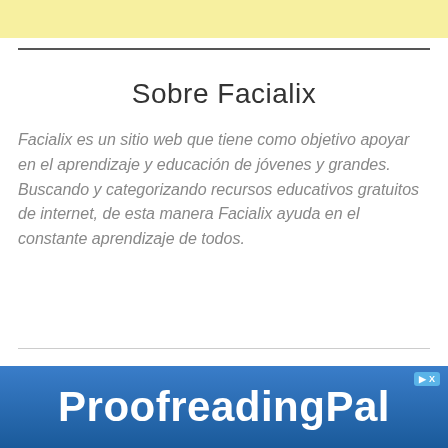Sobre Facialix
Facialix es un sitio web que tiene como objetivo apoyar en el aprendizaje y educación de jóvenes y grandes. Buscando y categorizando recursos educativos gratuitos de internet, de esta manera Facialix ayuda en el constante aprendizaje de todos.
[Figure (screenshot): Advertisement banner for ProofreadingPal with blue gradient background and white bold text]